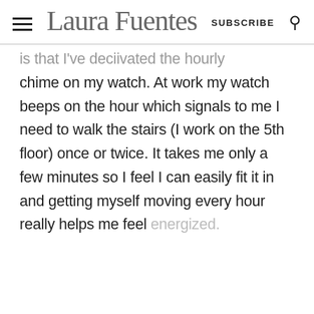Laura Fuentes | SUBSCRIBE
is that I've activated the hourly chime on my watch. At work my watch beeps on the hour which signals to me I need to walk the stairs (I work on the 5th floor) once or twice. It takes me only a few minutes so I feel I can easily fit it in and getting myself moving every hour really helps me feel energized.